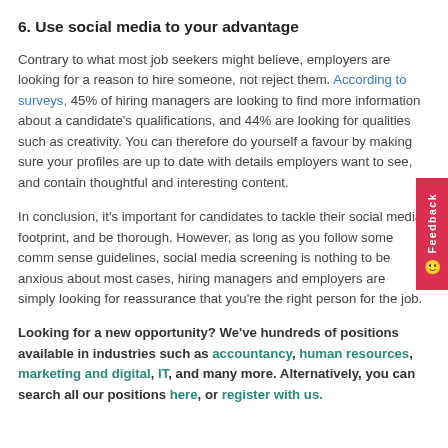6. Use social media to your advantage
Contrary to what most job seekers might believe, employers are looking for a reason to hire someone, not reject them. According to surveys, 45% of hiring managers are looking to find more information about a candidate's qualifications, and 44% are looking for qualities such as creativity. You can therefore do yourself a favour by making sure your profiles are up to date with details employers want to see, and contain thoughtful and interesting content.
In conclusion, it's important for candidates to tackle their social media footprint, and be thorough. However, as long as you follow some common sense guidelines, social media screening is nothing to be anxious about. In most cases, hiring managers and employers are simply looking for reassurance that you're the right person for the job.
Looking for a new opportunity? We've hundreds of positions available in industries such as accountancy, human resources, marketing and digital, IT, and many more. Alternatively, you can search all our positions here, or register with us.